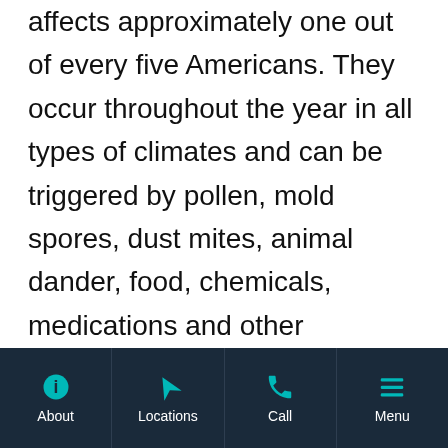affects approximately one out of every five Americans. They occur throughout the year in all types of climates and can be triggered by pollen, mold spores, dust mites, animal dander, food, chemicals, medications and other environmental irritants.
With so many possible causes, finding the source of your allergic response is crucial to treating the symptoms.
There are three types of allergy treatment
About | Locations | Call | Menu